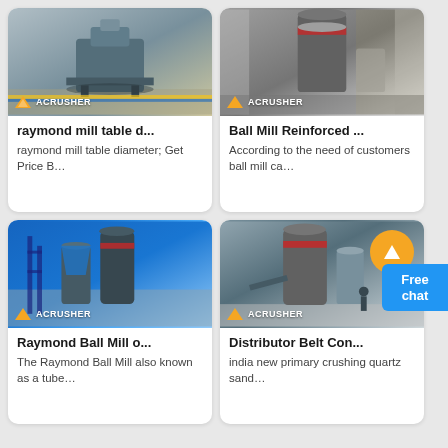[Figure (photo): Industrial raymond mill machine in a factory with ACRUSHER logo badge]
raymond mill table d...
raymond mill table diameter; Get Price B…
[Figure (photo): Large ball mill reinforced industrial machine in factory with ACRUSHER logo badge]
Ball Mill Reinforced ...
According to the need of customers ball mill ca…
[Figure (photo): Blue Raymond Ball Mill machine outdoors with ACRUSHER logo badge]
Raymond Ball Mill o...
The Raymond Ball Mill also known as a tube…
[Figure (photo): Distributor belt conveyor machinery in industrial setting with ACRUSHER logo badge and up arrow button]
Distributor Belt Con...
india new primary crushing quartz sand…